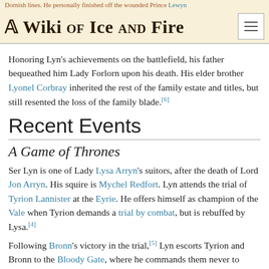Dornish lines. He personally finished off the wounded Prince Lewyn
A Wiki of Ice and Fire
Honoring Lyn's achievements on the battlefield, his father bequeathed him Lady Forlorn upon his death. His elder brother Lyonel Corbray inherited the rest of the family estate and titles, but still resented the loss of the family blade.[6]
Recent Events
A Game of Thrones
Ser Lyn is one of Lady Lysa Arryn's suitors, after the death of Lord Jon Arryn. His squire is Mychel Redfort. Lyn attends the trial of Tyrion Lannister at the Eyrie. He offers himself as champion of the Vale when Tyrion demands a trial by combat, but is rebuffed by Lysa.[4]
Following Bronn's victory in the trial,[5] Lyn escorts Tyrion and Bronn to the Bloody Gate, where he commands them never to return to the Vale.[8]
A Feast for Crows